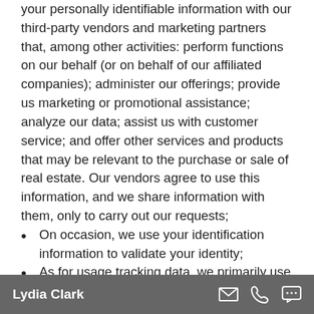your personally identifiable information with our third-party vendors and marketing partners that, among other activities: perform functions on our behalf (or on behalf of our affiliated companies); administer our offerings; provide us marketing or promotional assistance; analyze our data; assist us with customer service; and offer other services and products that may be relevant to the purchase or sale of real estate. Our vendors agree to use this information, and we share information with them, only to carry out our requests;
On occasion, we use your identification information to validate your identity;
As for usage tracking data, we primarily use
Lydia Clark